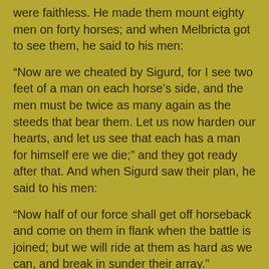were faithless.  He made them mount eighty men on forty horses;  and when Melbricta got to see them, he said to his men:
“Now are we cheated by Sigurd, for I see two feet of a man on each horse’s side, and the men must be twice as many again as the steeds that bear them.  Let us now harden our hearts, and let us see that each has a man for himself ere we die;”  and they got ready after that.  And when Sigurd saw their plan, he said to his men:
“Now half of our force shall get off horseback and come on them in flank when the battle is joined;  but we will ride at them as hard as we can, and break in sunder their array.”
And so they met and there was a hard battle, and not long ere Melbricta fell and his followers, and Sigurd caused the heads to be fastened to his horses’ cruppers as a glory for himself.  And then they rode home, and boasted of their victory.  And when they were come on the way, then